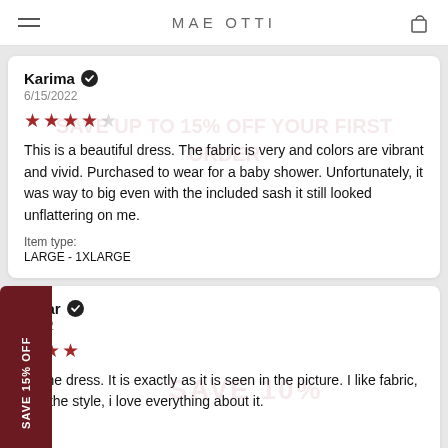MAE OTTI
Karima ✓
6/15/2022
★★★★☆
This is a beautiful dress. The fabric is very and colors are vibrant and vivid. Purchased to wear for a baby shower. Unfortunately, it was way to big even with the included sash it still looked unflattering on me.
Item type:
LARGE - 1XLARGE
mhar ✓
/2022
★★★
ve the dress. It is exactly as it is seen in the picture. I like fabric, like the style, i love everything about it.
 type: